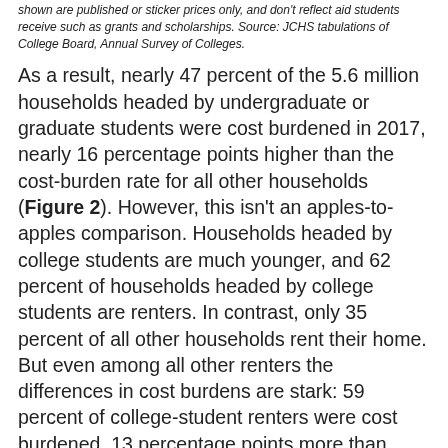shown are published or sticker prices only, and don't reflect aid students receive such as grants and scholarships. Source: JCHS tabulations of College Board, Annual Survey of Colleges.
As a result, nearly 47 percent of the 5.6 million households headed by undergraduate or graduate students were cost burdened in 2017, nearly 16 percentage points higher than the cost-burden rate for all other households (Figure 2). However, this isn't an apples-to-apples comparison. Households headed by college students are much younger, and 62 percent of households headed by college students are renters. In contrast, only 35 percent of all other households rent their home. But even among all other renters the differences in cost burdens are stark: 59 percent of college-student renters were cost burdened, 13 percentage points more than non-student renters. For student renters under age 35, an even higher 63 percent had cost burdens, nearly 20 percentage points higher than same-age renters not enrolled in college.